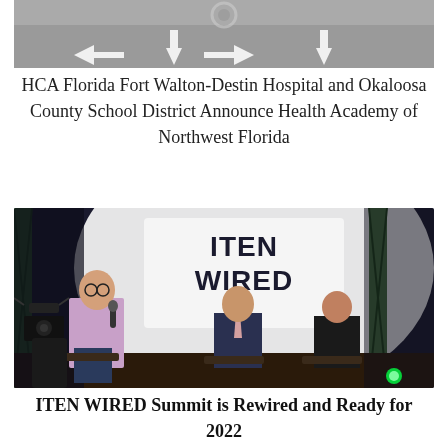[Figure (photo): Aerial/road view photo showing road arrows from above, partially cropped at top of page]
HCA Florida Fort Walton-Destin Hospital and Okaloosa County School District Announce Health Academy of Northwest Florida
[Figure (photo): Panel discussion at ITEN WIRED Summit event. Three people seated on stage, one holding microphone. Large ITEN WIRED backdrop banner visible. Green scaffolding/truss structures on sides. Dark conference setting with stage lighting.]
ITEN WIRED Summit is Rewired and Ready for 2022